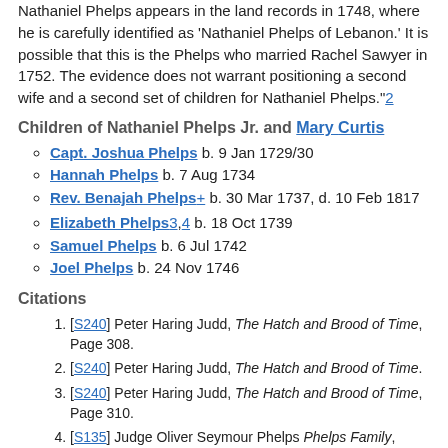Nathaniel Phelps appears in the land records in 1748, where he is carefully identified as 'Nathaniel Phelps of Lebanon.' It is possible that this is the Phelps who married Rachel Sawyer in 1752. The evidence does not warrant positioning a second wife and a second set of children for Nathaniel Phelps."2
Children of Nathaniel Phelps Jr. and Mary Curtis
Capt. Joshua Phelps b. 9 Jan 1729/30
Hannah Phelps b. 7 Aug 1734
Rev. Benajah Phelps+ b. 30 Mar 1737, d. 10 Feb 1817
Elizabeth Phelps3,4 b. 18 Oct 1739
Samuel Phelps b. 6 Jul 1742
Joel Phelps b. 24 Nov 1746
Citations
[S240] Peter Haring Judd, The Hatch and Brood of Time, Page 308.
[S240] Peter Haring Judd, The Hatch and Brood of Time.
[S240] Peter Haring Judd, The Hatch and Brood of Time, Page 310.
[S135] Judge Oliver Seymour Phelps Phelps Family, Volume I, Page 153.